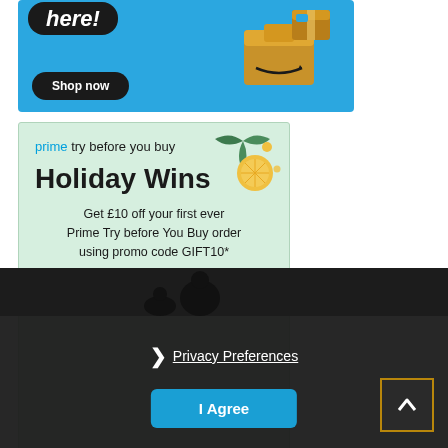[Figure (screenshot): Amazon banner ad with boxes and 'Shop now' button on blue background]
[Figure (screenshot): Amazon Prime 'try before you buy' Holiday Wins ad with light green background. Text: 'prime try before you buy', 'Holiday Wins', 'Get £10 off your first ever Prime Try before You Buy order using promo code GIFT10*', 'Shop now ›', '*Terms and conditions apply.']
Privacy Preferences
I Agree